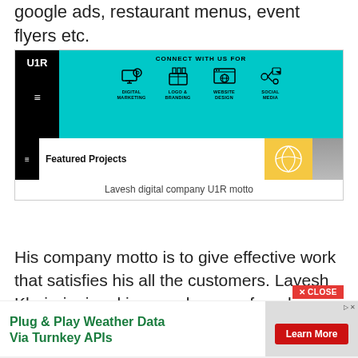google ads, restaurant menus, event flyers etc.
[Figure (screenshot): U1R digital company website mockup showing cyan header with CONNECT WITH US FOR and four services: Digital Marketing, Logo & Branding, Website Design, Social Media. Bottom section shows Featured Projects with yellow and grey image panels.]
Lavesh digital company U1R motto
His company motto is to give effective work that satisfies his all the customers. Lavesh Khairajani making good money from his work and
Plug & Play Weather Data Via Turnkey APIs